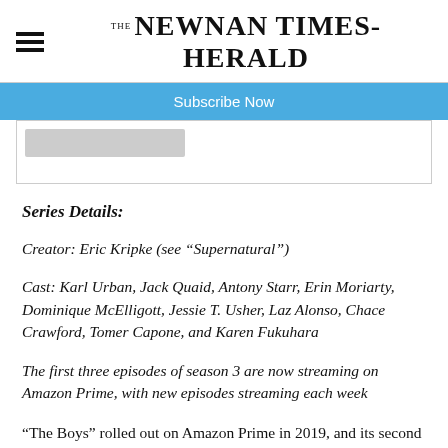THE NEWNAN TIMES-HERALD
Subscribe Now
Series Details:
Creator: Eric Kripke (see “Supernatural”)
Cast: Karl Urban, Jack Quaid, Antony Starr, Erin Moriarty, Dominique McElligott, Jessie T. Usher, Laz Alonso, Chace Crawford, Tomer Capone, and Karen Fukuhara
The first three episodes of season 3 are now streaming on Amazon Prime, with new episodes streaming each week
“The Boys” rolled out on Amazon Prime in 2019, and its second season became a pandemic guilty pleasure. The series is an